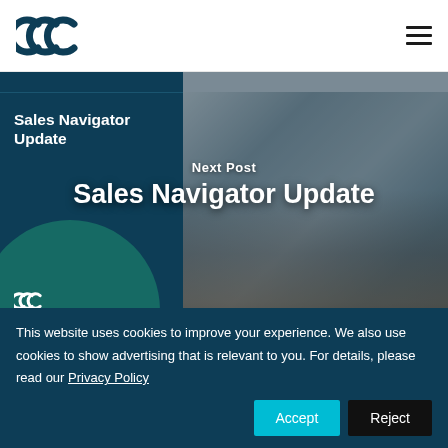Tricycle Europe logo and navigation menu
[Figure (screenshot): Website screenshot showing a Tricycle Europe page with a dark blue left panel displaying 'Sales Navigator Update' text and logo, and a right photo panel showing a woman at a laptop. Overlay text reads 'Next Post' and 'Sales Navigator Update'.]
This website uses cookies to improve your experience. We also use cookies to show advertising that is relevant to you. For details, please read our Privacy Policy
Accept
Reject